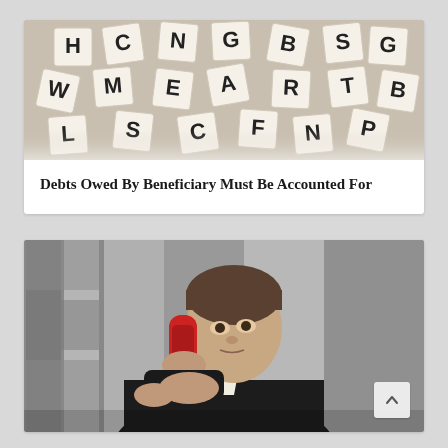[Figure (photo): Overhead photo of scattered Scrabble letter tiles on a surface, showing letters including H, C, W, B, G among others]
Debts Owed By Beneficiary Must Be Accounted For
[Figure (photo): Man in a dark suit holding a red telephone handset to his ear, looking sideways with a focused expression, against a grey curtained background]